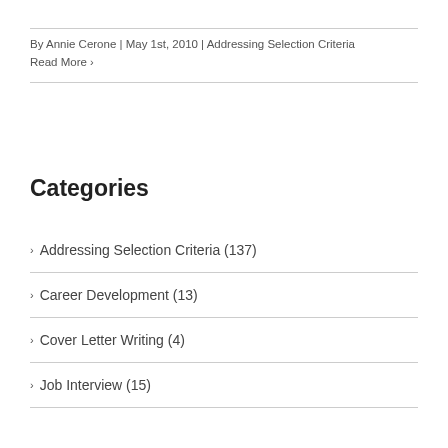By Annie Cerone | May 1st, 2010 | Addressing Selection Criteria
Read More ›
Categories
› Addressing Selection Criteria (137)
› Career Development (13)
› Cover Letter Writing (4)
› Job Interview (15)